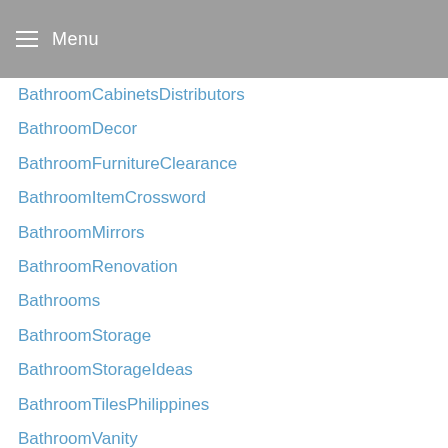Menu
BathroomCabinetsDistributors
BathroomDecor
BathroomFurnitureClearance
BathroomItemCrossword
BathroomMirrors
BathroomRenovation
Bathrooms
BathroomStorage
BathroomStorageIdeas
BathroomTilesPhilippines
BathroomVanity
BathroomWallCovering
BathroomWallT
BATHWA
BeachCottage
beachlife
Beauty